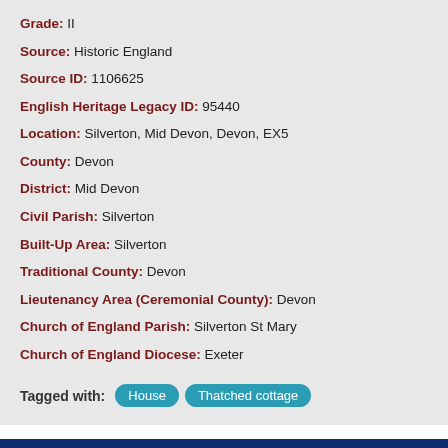Grade: II
Source: Historic England
Source ID: 1106625
English Heritage Legacy ID: 95440
Location: Silverton, Mid Devon, Devon, EX5
County: Devon
District: Mid Devon
Civil Parish: Silverton
Built-Up Area: Silverton
Traditional County: Devon
Lieutenancy Area (Ceremonial County): Devon
Church of England Parish: Silverton St Mary
Church of England Diocese: Exeter
Tagged with: House  Thatched cottage
Find accommodation in Silverton